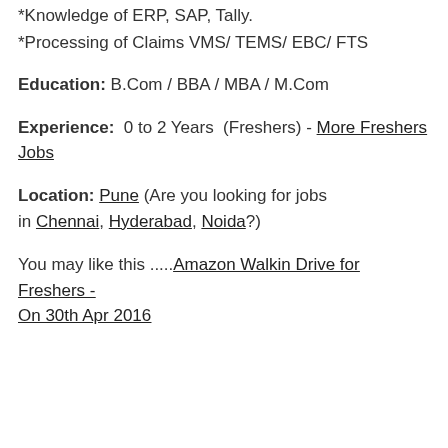*Knowledge of ERP, SAP, Tally.
*Processing of Claims VMS/ TEMS/ EBC/ FTS
Education: B.Com / BBA / MBA / M.Com
Experience: 0 to 2 Years (Freshers) - More Freshers Jobs
Location: Pune (Are you looking for jobs in Chennai, Hyderabad, Noida?)
You may like this .....Amazon Walkin Drive for Freshers - On 30th Apr 2016